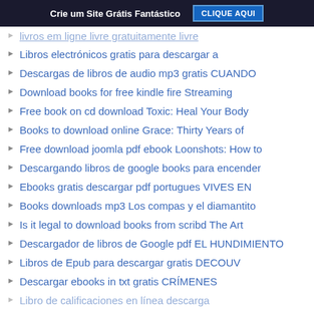Crie um Site Grátis Fantástico | CLIQUE AQUI
Libros electrónicos gratis para descargar a
Descargas de libros de audio mp3 gratis CUANDO
Download books for free kindle fire Streaming
Free book on cd download Toxic: Heal Your Body
Books to download online Grace: Thirty Years of
Free download joomla pdf ebook Loonshots: How to
Descargando libros de google books para encender
Ebooks gratis descargar pdf portugues VIVES EN
Books downloads mp3 Los compas y el diamantito
Is it legal to download books from scribd The Art
Descargador de libros de Google pdf EL HUNDIMIENTO
Libros de Epub para descargar gratis DECOUV
Descargar ebooks in txt gratis CRÍMENES
Libro de calificaciones en línea descarga